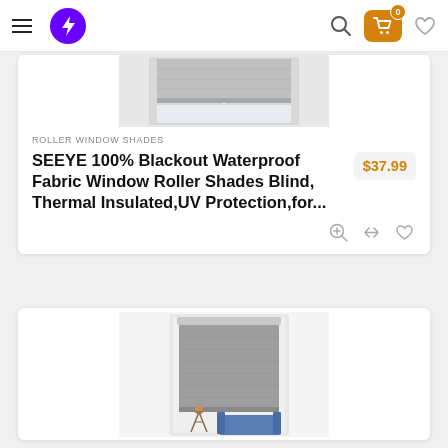ROLLER WINDOW SHADES
[Figure (photo): Roller window shade product image (top portion, gray blind on window with white dotted pull cord)]
ROLLER WINDOW SHADES
SEEYE 100% Blackout Waterproof Fabric Window Roller Shades Blind, Thermal Insulated,UV Protection,for...
$37.99
[Figure (photo): Roller window shade product image (second card, gray roller blind fully lowered on white window frame, with tripod and blue sofa visible below)]